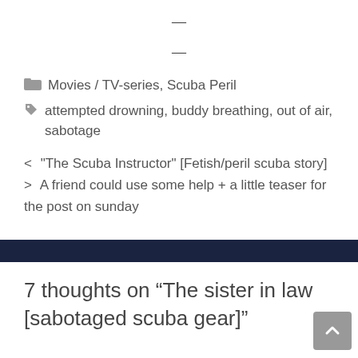—
—
Movies / TV-series, Scuba Peril
attempted drowning, buddy breathing, out of air, sabotage
< "The Scuba Instructor" [Fetish/peril scuba story]
> A friend could use some help + a little teaser for the post on sunday
7 thoughts on “The sister in law [sabotaged scuba gear]”